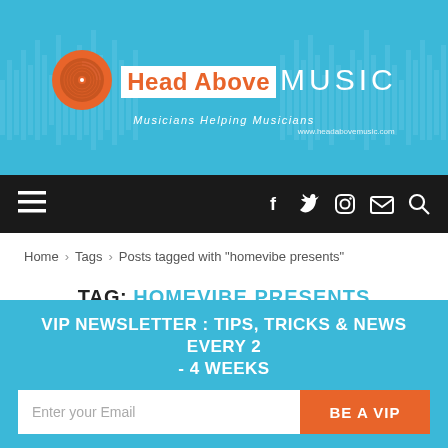[Figure (logo): Head Above Music website header banner with orange vinyl record logo, brand name 'Head Above MUSIC', tagline 'Musicians Helping Musicians', soundwave graphic background in blue, and website URL]
Navigation bar with hamburger menu, social icons: f, twitter bird, instagram, envelope, search
Home > Tags > Posts tagged with "homevibe presents"
TAG: HOMEVIBE PRESENTS
VIP NEWSLETTER : TIPS, TRICKS & NEWS EVERY 2 - 4 WEEKS
Enter your Email | BE A VIP